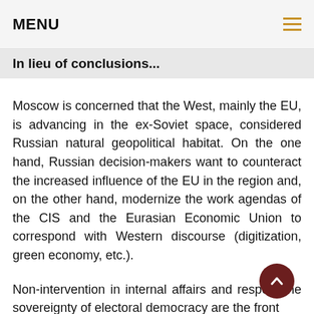MENU
In lieu of conclusions...
Moscow is concerned that the West, mainly the EU, is advancing in the ex-Soviet space, considered Russian natural geopolitical habitat. On the one hand, Russian decision-makers want to counteract the increased influence of the EU in the region and, on the other hand, modernize the work agendas of the CIS and the Eurasian Economic Union to correspond with Western discourse (digitization, green economy, etc.).
Non-intervention in internal affairs and respect the sovereignty of electoral democracy are the front